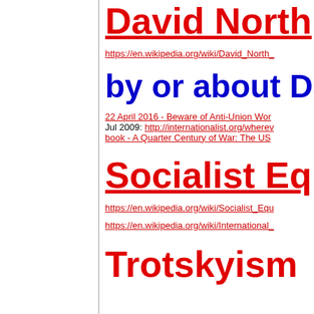David North
https://en.wikipedia.org/wiki/David_North_
by or about Dav
22 April 2016 - Beware of Anti-Union Wor
Jul 2009: http://internationalist.org/wherev book - A Quarter Century of War: The US
Socialist Eq
https://en.wikipedia.org/wiki/Socialist_Equ
https://en.wikipedia.org/wiki/International_
Trotskyism